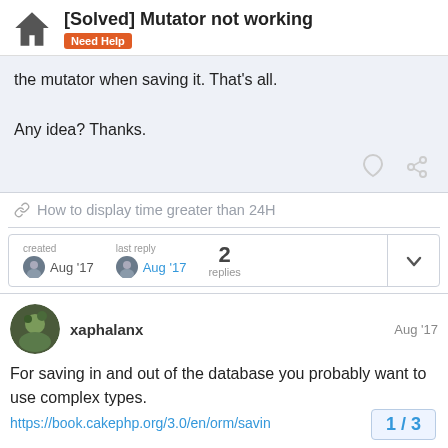[Solved] Mutator not working — Need Help
the mutator when saving it. That's all.

Any idea? Thanks.
🔗 How to display time greater than 24H
created Aug '17   last reply Aug '17   2 replies
xaphalanx   Aug '17

For saving in and out of the database you probably want to use complex types.

https://book.cakephp.org/3.0/en/orm/savin
1 / 3